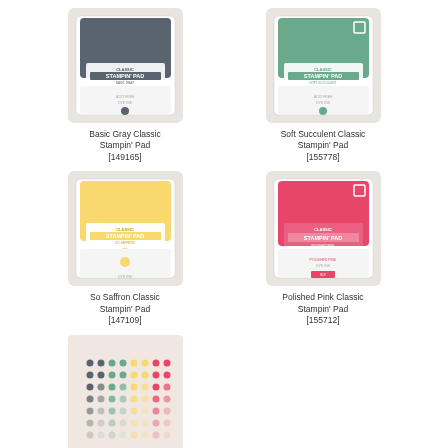[Figure (photo): Basic Gray Classic Stampin' Pad ink pad with gray ink top]
Basic Gray Classic Stampin' Pad
[149165]
[Figure (photo): Soft Succulent Classic Stampin' Pad ink pad with green ink top]
Soft Succulent Classic Stampin' Pad
[155778]
[Figure (photo): So Saffron Classic Stampin' Pad ink pad with yellow ink top]
So Saffron Classic Stampin' Pad
[147109]
[Figure (photo): Polished Pink Classic Stampin' Pad ink pad with pink ink top]
Polished Pink Classic Stampin' Pad
[155712]
[Figure (photo): 2021-2023 In Color Inked dot grid swatch sheet on pale pink background]
2021–2023 In Color
Ink